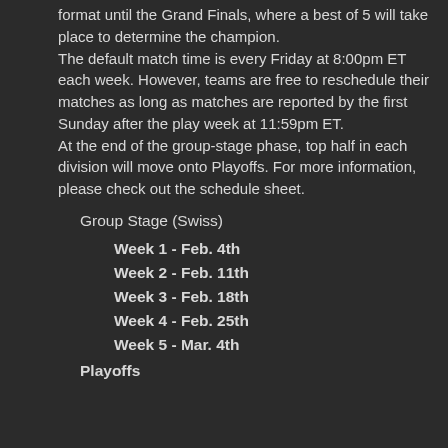format until the Grand Finals, where a best of 5 will take place to determine the champion. The default match time is every Friday at 8:00pm ET each week. However, teams are free to reschedule their matches as long as matches are reported by the first Sunday after the play week at 11:59pm ET. At the end of the group-stage phase, top half in each division will move onto Playoffs. For more information, please check out the schedule sheet.
Group Stage (Swiss)
Week 1 - Feb. 4th
Week 2 - Feb. 11th
Week 3 - Feb. 18th
Week 4 - Feb. 25th
Week 5 - Mar. 4th
Playoffs